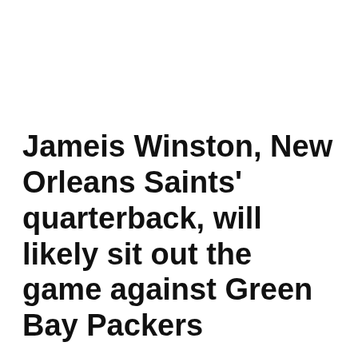Jameis Winston, New Orleans Saints' quarterback, will likely sit out the game against Green Bay Packers